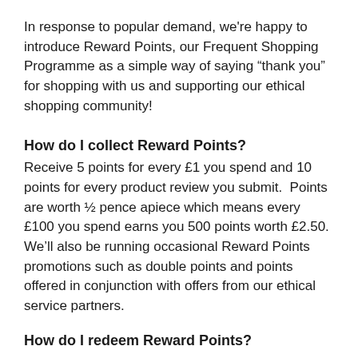In response to popular demand, we're happy to introduce Reward Points, our Frequent Shopping Programme as a simple way of saying “thank you” for shopping with us and supporting our ethical shopping community!
How do I collect Reward Points?
Receive 5 points for every £1 you spend and 10 points for every product review you submit.  Points are worth ½ pence apiece which means every £100 you spend earns you 500 points worth £2.50.  We’ll also be running occasional Reward Points promotions such as double points and points offered in conjunction with offers from our ethical service partners.
How do I redeem Reward Points?
Every 3 months, we will email you a cash voucher and unique code for the points earned during the previous 3 months, along with details of how to redeem it.